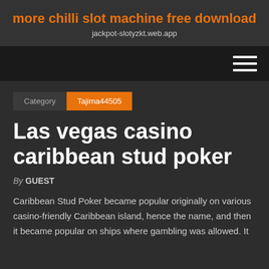more chilli slot machine free download
jackpot-slotyzkt.web.app
[Figure (other): Navigation bar with hamburger menu icon (three horizontal lines) on dark background]
Category   Tajima44505
Las vegas casino caribbean stud poker
By GUEST
Caribbean Stud Poker became popular originally on various casino-friendly Caribbean island, hence the name, and then it became popular on ships where gambling was allowed. It